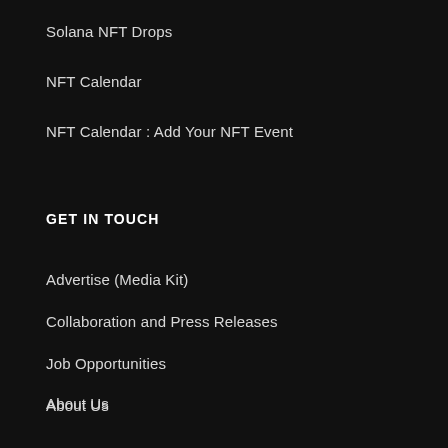Solana NFT Drops
NFT Calendar
NFT Calendar : Add Your NFT Event
GET IN TOUCH
Advertise (Media Kit)
Collaboration and Press Releases
Job Opportunities
About Us
Contact Us
NFT BEGINNERS GUIDES